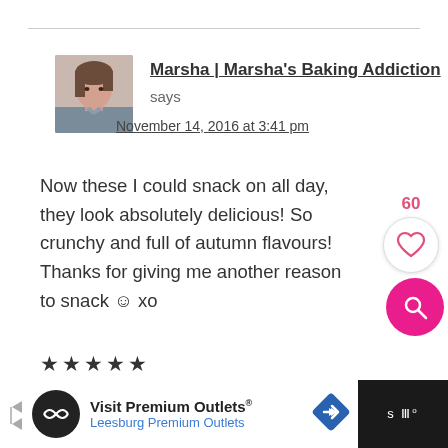[Figure (photo): Avatar photo of a woman with bangs and brown hair]
Marsha | Marsha's Baking Addiction says
November 14, 2016 at 3:41 pm
Now these I could snack on all day, they look absolutely delicious! So crunchy and full of autumn flavours! Thanks for giving me another reason to snack ☺ xo
★★★★★
REPLY
[Figure (infographic): Like count 60 with heart button and pink search button]
[Figure (infographic): Advertisement bar: Visit Premium Outlets® Leesburg Premium Outlets]